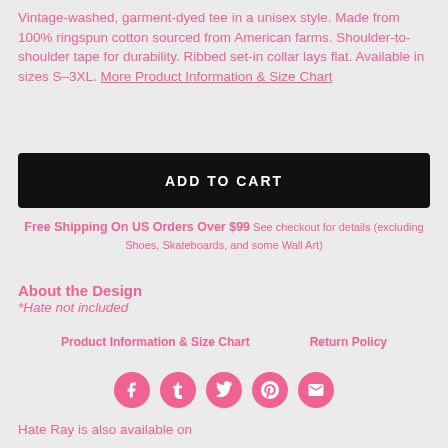Vintage-washed, garment-dyed tee in a unisex style. Made from 100% ringspun cotton sourced from American farms. Shoulder-to-shoulder tape for durability. Ribbed set-in collar lays flat. Available in sizes S–3XL. More Product Information & Size Chart
ADD TO CART
Free Shipping On US Orders Over $99 See checkout for details (excluding Shoes, Skateboards, and some Wall Art)
About the Design
*Hate not included
Product Information & Size Chart
Return Policy
[Figure (infographic): Row of 5 pink circular social media icons: Facebook, Tumblr, Twitter, Pinterest, Email]
Hate Ray is also available on